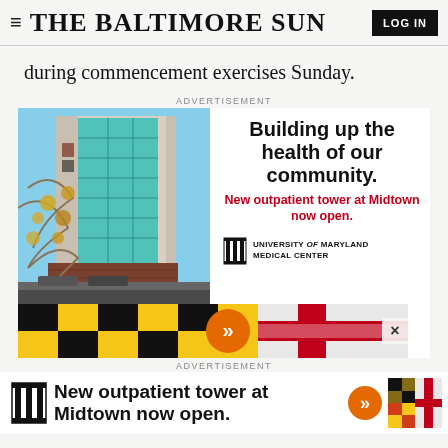≡ THE BALTIMORE SUN | LOG IN
during commencement exercises Sunday.
ADVERTISEMENT
[Figure (photo): Advertisement for University of Maryland Medical Center showing photo of UMMC building (glass tower with Maryland flag colors at base) alongside text: 'Building up the health of our community. New outpatient tower at Midtown now open.' with UMMC logo and Maryland flag strip.]
ADVERTISEMENT
[Figure (infographic): Banner advertisement for University of Maryland Medical Center: 'New outpatient tower at Midtown now open.' with UMMC logo, double-arrow icon, and Maryland flag colors.]